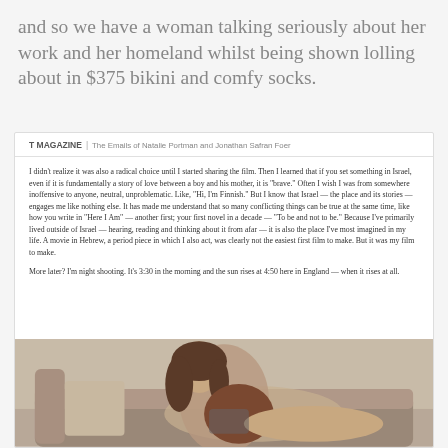and so we have a woman talking seriously about her work and her homeland whilst being shown lolling about in $375 bikini and comfy socks.
[Figure (screenshot): Screenshot of T Magazine article showing header 'T MAGAZINE | The Emails of Natalie Portman and Jonathan Safran Foer' followed by body text from Natalie Portman's email discussing making a film in Hebrew about Israel, and a photograph of a woman (Natalie Portman) reclining on a couch.]